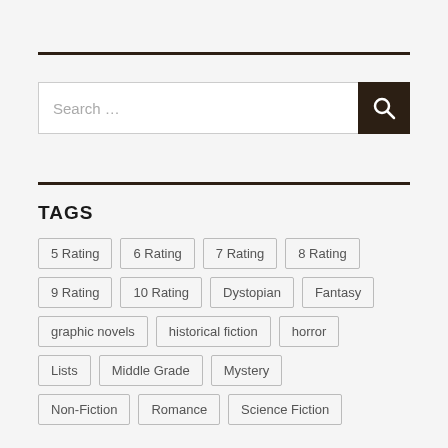Search ...
TAGS
5 Rating
6 Rating
7 Rating
8 Rating
9 Rating
10 Rating
Dystopian
Fantasy
graphic novels
historical fiction
horror
Lists
Middle Grade
Mystery
Non-Fiction
Romance
Science Fiction